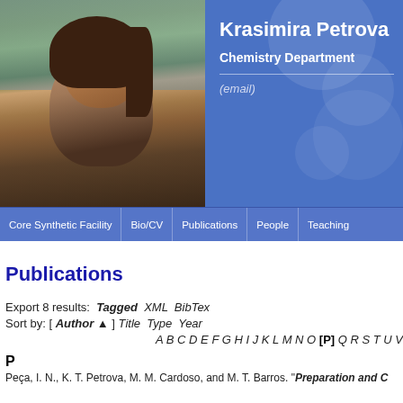[Figure (photo): Portrait photo of Krasimira Petrova, a woman with brown hair, outdoors with trees and buildings in background, on a blue banner background]
Krasimira Petrova
Chemistry Department
(email)
Core Synthetic Facility | Bio/CV | Publications | People | Teaching
Publications
Export 8 results:  Tagged  XML  BibTex
Sort by: [ Author ▲ ] Title  Type  Year
A B C D E F G H I J K L M N O [P] Q R S T U V
P
Peça, I. N., K. T. Petrova, M. M. Cardoso, and M. T. Barros. "Preparation and C